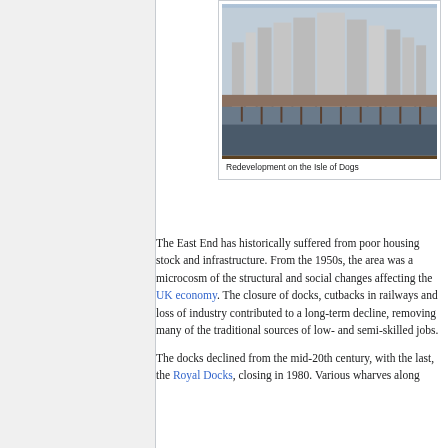[Figure (photo): Aerial/waterfront view of redevelopment on the Isle of Dogs showing modern skyscrapers and city skyline across water]
Redevelopment on the Isle of Dogs
The East End has historically suffered from poor housing stock and infrastructure. From the 1950s, the area was a microcosm of the structural and social changes affecting the UK economy. The closure of docks, cutbacks in railways and loss of industry contributed to a long-term decline, removing many of the traditional sources of low- and semi-skilled jobs.
The docks declined from the mid-20th century, with the last, the Royal Docks, closing in 1980. Various wharves along